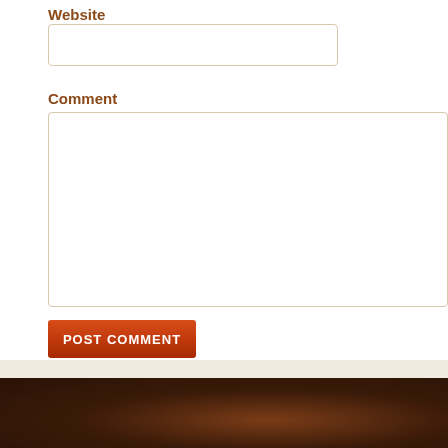Website
[Figure (screenshot): Empty text input field for website URL]
Comment
[Figure (screenshot): Empty large textarea for comment input]
[Figure (screenshot): Red POST COMMENT submit button]
Latest News    Copyright